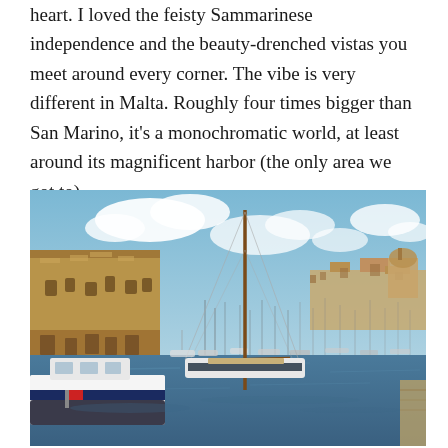heart. I loved the feisty Sammarinese independence and the beauty-drenched vistas you meet around every corner. The vibe is very different in Malta. Roughly four times bigger than San Marino, it's a monochromatic world, at least around its magnificent harbor (the only area we got to).
[Figure (photo): A wide harbor view in Malta showing a marina filled with moored sailboats and yachts, with historic limestone fortifications and old city buildings visible along the waterfront on the left and distant shore on the right, under a partly cloudy blue sky. A large sailing yacht with a tall wooden mast is prominent in the foreground center, and a white motor yacht is visible at the lower left.]